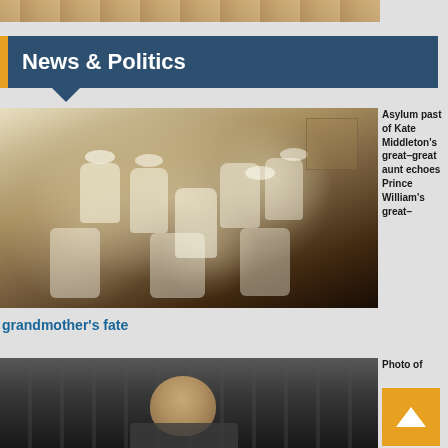[Figure (photo): Top portion of a photo showing people in warm-toned setting, partially cropped]
News & Politics
[Figure (photo): Historical black and white photograph of a group of nurses in white uniforms and caps, posed together in a room]
Asylum past of Kate Middleton's great-great aunt echoes Prince William's great-grandmother's fate
[Figure (photo): Photo of a man in an industrial or warehouse setting, partially visible]
Photo of ... mi Far